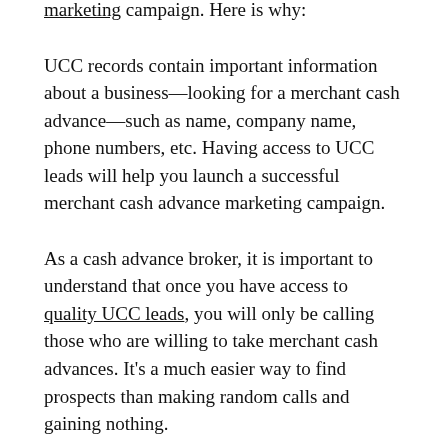marketing campaign. Here is why:
UCC records contain important information about a business—looking for a merchant cash advance—such as name, company name, phone numbers, etc. Having access to UCC leads will help you launch a successful merchant cash advance marketing campaign.
As a cash advance broker, it is important to understand that once you have access to quality UCC leads, you will only be calling those who are willing to take merchant cash advances. It's a much easier way to find prospects than making random calls and gaining nothing.
Also, the businesses listed are ones who have already applied for a merchant cash advance and are familiar with the entire process. It will demand less